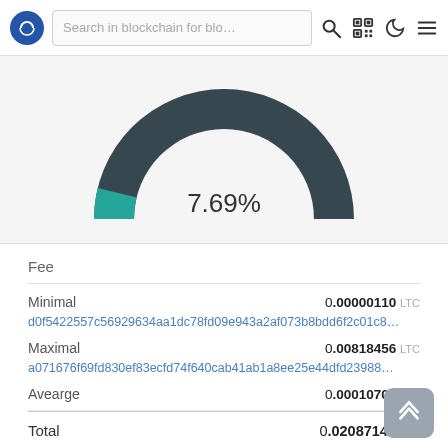Search in blockchain for blo...
[Figure (donut-chart): Semicircular donut/gauge chart showing 7.69%, dark teal/charcoal background arc with small teal filled segment on the left]
Fee
Minimal  0.00000110 LTC
d0f5422557c56929634aa1dc78fd09e943a2af073b8bdd6f2c01c8...
Maximal  0.00818456 LTC
a071676f69fd830ef83ecfd74f640cab41ab1a8ee25e44dfd23988...
Avearge  0.00010703 LTC
Total  0.02087140 LTC